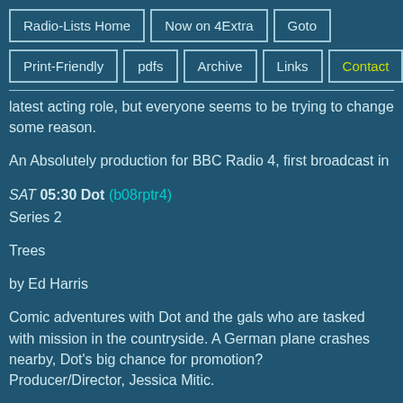Radio-Lists Home | Now on 4Extra | Goto | Print-Friendly | pdfs | Archive | Links | Contact
latest acting role, but everyone seems to be trying to change some reason.
An Absolutely production for BBC Radio 4, first broadcast in
SAT 05:30 Dot (b08rptr4)
Series 2
Trees
by Ed Harris
Comic adventures with Dot and the gals who are tasked with mission in the countryside. A German plane crashes nearby, Dot's big chance for promotion?
Producer/Director, Jessica Mitic.